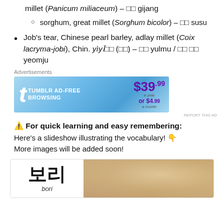millet (Panicum miliaceum) – □□ gijang
sorghum, great millet (Sorghum bicolor) – □□ susu
Job’s tear, Chinese pearl barley, adlay millet (Coix lacryma-jobi), Chin. yìyį□□ (□□) – □□ yulmu / □□ □□ yeomju
[Figure (screenshot): Tumblr Ad-Free Browsing advertisement banner: $39.99 a year or $4.99 a month]
⚠️ For quick learning and easy remembering: Here’s a slideshow illustrating the vocabulary! 👇 More images will be added soon!
[Figure (photo): Slideshow image showing Korean word 보리 (bori) with grain photo]